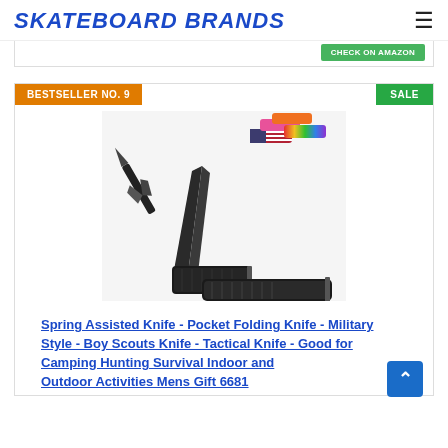SKATEBOARD BRANDS
BESTSELLER NO. 9
SALE
[Figure (photo): Product photo of spring assisted pocket folding knives - shows multiple folding knives including a large black tactical knife open and closed, along with smaller colorful knives]
Spring Assisted Knife - Pocket Folding Knife - Military Style - Boy Scouts Knife - Tactical Knife - Good for Camping Hunting Survival Indoor and Outdoor Activities Mens Gift 6681